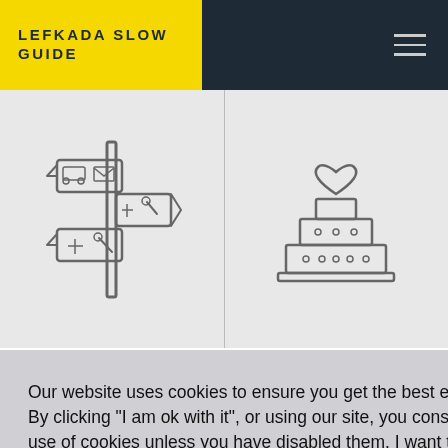LEFKADA SLOW GUIDE
[Figure (illustration): A directional signpost icon showing a cross-shaped sign post with four arrows pointing in cardinal directions, each containing small icons: car, envelope, medical cross, and wrench]
[Figure (illustration): A wedding cake icon with a heart on top tier, two tiers below decorated with dots]
sm
Our website uses cookies to ensure you get the best experience.
By clicking "I am ok with it", or using our site, you consent to the use of cookies unless you have disabled them. I want to learn more
OK